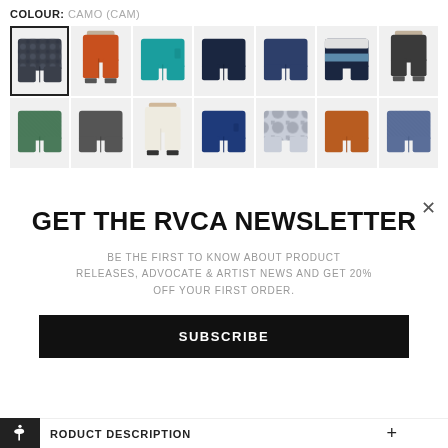COLOUR: CAMO (CAM)
[Figure (screenshot): Grid of 14 product thumbnail images showing various styles of shorts in different colors and patterns, arranged in 2 rows of 7. First thumbnail (top-left) is selected with a black border.]
GET THE RVCA NEWSLETTER
BE THE FIRST TO KNOW ABOUT PRODUCT RELEASES, ADVOCATE & ARTIST NEWS AND GET 20% OFF YOUR FIRST ORDER.
SUBSCRIBE
PRODUCT DESCRIPTION